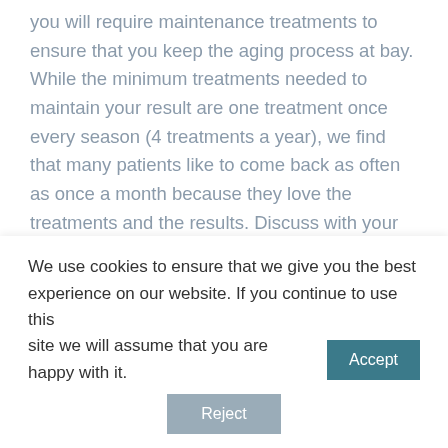you will require maintenance treatments to ensure that you keep the aging process at bay. While the minimum treatments needed to maintain your result are one treatment once every season (4 treatments a year), we find that many patients like to come back as often as once a month because they love the treatments and the results. Discuss with your treatment provider what the best treatment plan is for your skin.
We use cookies to ensure that we give you the best experience on our website. If you continue to use this site we will assume that you are happy with it. Accept Reject